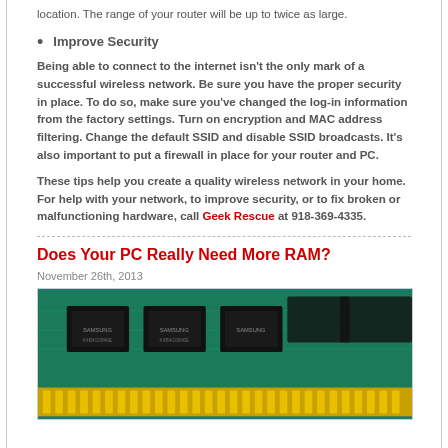location. The range of your router will be up to twice as large.
Improve Security
Being able to connect to the internet isn't the only mark of a successful wireless network. Be sure you have the proper security in place. To do so, make sure you've changed the log-in information from the factory settings. Turn on encryption and MAC address filtering. Change the default SSID and disable SSID broadcasts. It's also important to put a firewall in place for your router and PC.
These tips help you create a quality wireless network in your home. For help with your network, to improve security, or to fix broken or malfunctioning hardware, call Geek Rescue at 918-369-4335.
Does Your PC Really Need More RAM?
November 26th, 2013
[Figure (photo): Close-up photo of RAM memory sticks on a circuit board, showing green PCB with black chips and gold edge connectors]